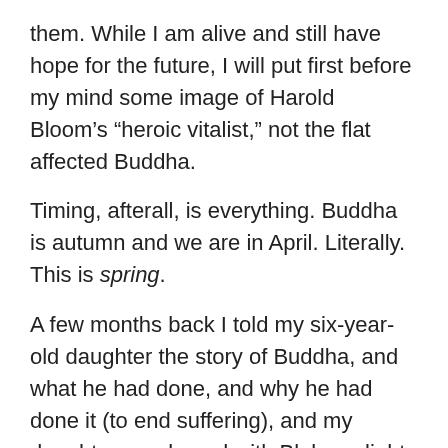them. While I am alive and still have hope for the future, I will put first before my mind some image of Harold Bloom's “heroic vitalist,” not the flat affected Buddha.
Timing, afterall, is everything. Buddha is autumn and we are in April. Literally. This is spring.
A few months back I told my six-year-old daughter the story of Buddha, and what he had done, and why he had done it (to end suffering), and my daughter, awakened with Blakean light energy, wisely yelped, “This is wrong! That’s like having a birthday party without cupcakes!”
I think that she’s right (and wiser than the self-proclaimed followers of Buddha, like Lama Surya Das). Now is not the season of decline and death, but a time to shake out your legs, oh indolent sitting ones. This is not the time for the